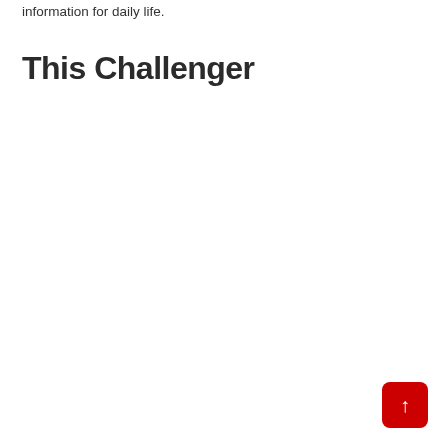information for daily life.
This Challenger
[Figure (other): Red back-to-top button with white upward arrow, rounded corners, positioned at bottom right]